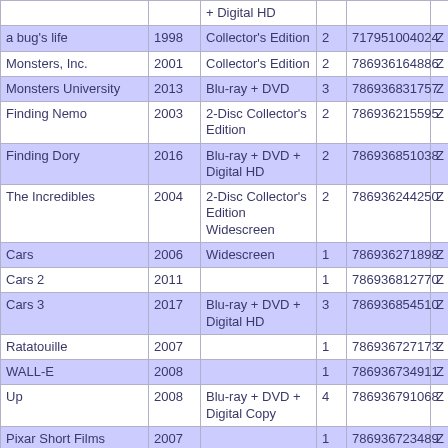| Title | Year | Edition | Discs | Barcode |  |
| --- | --- | --- | --- | --- | --- |
|  |  | + Digital HD |  |  |  |
| a bug's life | 1998 | Collector's Edition | 2 | 717951004024 | Z |
| Monsters, Inc. | 2001 | Collector's Edition | 2 | 786936164886 | Z |
| Monsters University | 2013 | Blu-ray + DVD | 3 | 786936831757 | Z |
| Finding Nemo | 2003 | 2-Disc Collector's Edition | 2 | 786936215595 | Z |
| Finding Dory | 2016 | Blu-ray + DVD + Digital HD | 2 | 786936851038 | Z |
| The Incredibles | 2004 | 2-Disc Collector's Edition Widescreen | 2 | 786936244250 | Z |
| Cars | 2006 | Widescreen | 1 | 786936271898 | Z |
| Cars 2 | 2011 |  | 1 | 786936812770 | Z |
| Cars 3 | 2017 | Blu-ray + DVD + Digital HD | 3 | 786936854510 | Z |
| Ratatouille | 2007 |  | 1 | 786936727173 | Z |
| WALL-E | 2008 |  | 1 | 786936734911 | Z |
| Up | 2008 | Blu-ray + DVD + Digital Copy | 4 | 786936791068 | Z |
| Pixar Short Films Collection | 2007 |  | 1 | 786936723489 | Z |